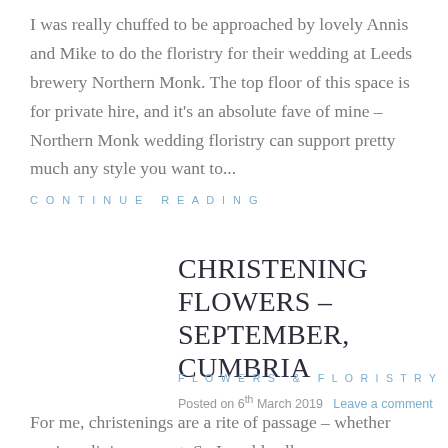I was really chuffed to be approached by lovely Annis and Mike to do the floristry for their wedding at Leeds brewery Northern Monk. The top floor of this space is for private hire, and it's an absolute fave of mine – Northern Monk wedding floristry can support pretty much any style you want to...
CONTINUE READING
CHRISTENING FLOWERS – SEPTEMBER, CUMBRIA
FLOWERS & FLORISTRY
Posted on 6th March 2019   Leave a comment
For me, christenings are a rite of passage – whether you're religious or not. So I could call